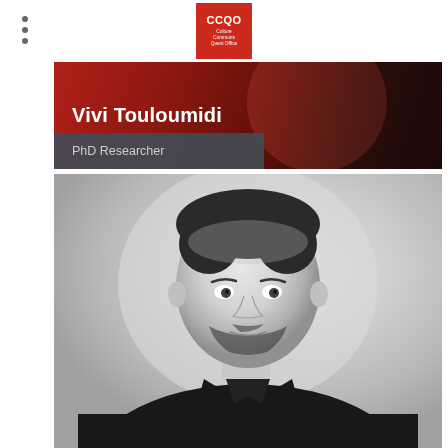[Figure (logo): CCQO (Culture Commons Quest Office) logo — red square with white text]
[Figure (photo): Banner photo of Vivi Touloumidi with red overlay, name in white, title 'PhD Researcher' in gray bar]
Vivi Touloumidi
PhD Researcher
[Figure (photo): Black and white portrait photo of a man with short dark hair and beard, wearing a black shirt, against a light gray background]